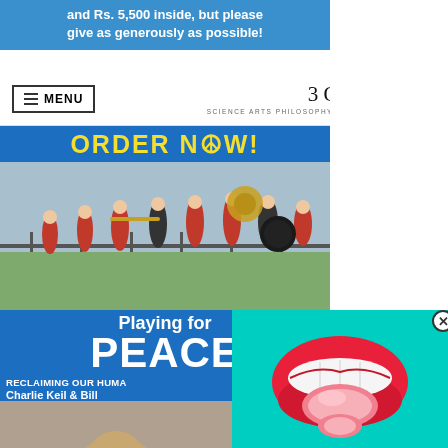and Rs. 5,500 inside, but please give as generously as possible!
3 Quarks Daily — SCIENCE ARTS PHILOSOPHY POLITICS LITERATURE
[Figure (photo): Book advertisement for 'Playing for PEACE' by Charlie Keil & Bill, showing a marching band in red clothing outdoors by water, with blue background and yellow ORDER NOW! text]
[Figure (photo): Popup advertisement showing a mouth with red lips and a white tongue on a teal/cyan background, with a close (X) button]